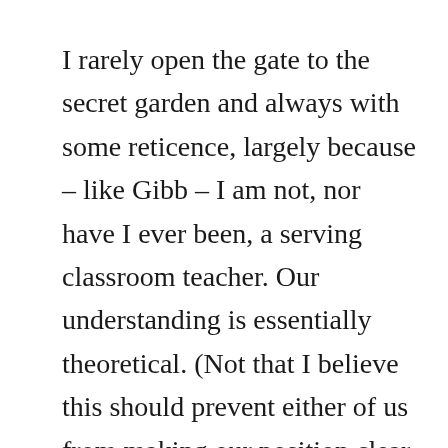I rarely open the gate to the secret garden and always with some reticence, largely because – like Gibb – I am not, nor have I ever been, a serving classroom teacher. Our understanding is essentially theoretical. (Not that I believe this should prevent either of us from making our position clear – and having it respected.)